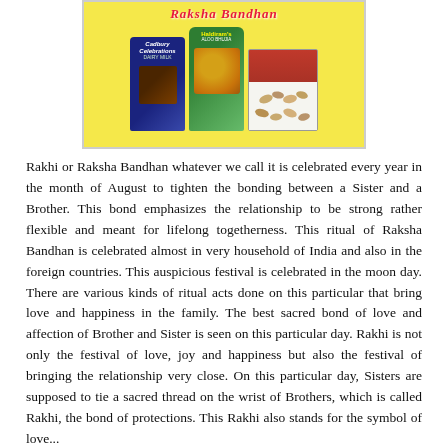[Figure (photo): Raksha Bandhan promotional image showing Cadbury Celebrations chocolate box, Haldiram's namkeen bag, and a dry fruits box on a yellow background with decorative text 'Raksha Bandhan' at the top.]
Rakhi or Raksha Bandhan whatever we call it is celebrated every year in the month of August to tighten the bonding between a Sister and a Brother. This bond emphasizes the relationship to be strong rather flexible and meant for lifelong togetherness. This ritual of Raksha Bandhan is celebrated almost in very household of India and also in the foreign countries. This auspicious festival is celebrated in the moon day. There are various kinds of ritual acts done on this particular that bring love and happiness in the family. The best sacred bond of love and affection of Brother and Sister is seen on this particular day. Rakhi is not only the festival of love, joy and happiness but also the festival of bringing the relationship very close. On this particular day, Sisters are supposed to tie a sacred thread on the wrist of Brothers, which is called Rakhi, the bond of protections. This Rakhi also stands for the symbol of love...